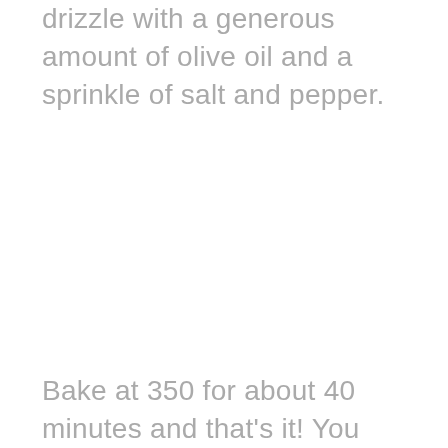drizzle with a generous amount of olive oil and a sprinkle of salt and pepper.
Bake at 350 for about 40 minutes and that's it! You